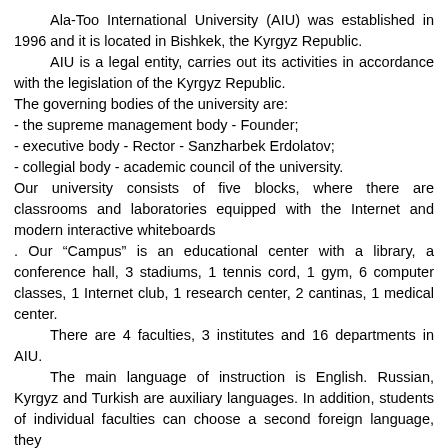Ala-Too International University (AIU) was established in 1996 and it is located in Bishkek, the Kyrgyz Republic.
AIU is a legal entity, carries out its activities in accordance with the legislation of the Kyrgyz Republic.
The governing bodies of the university are:
- the supreme management body - Founder;
- executive body - Rector - Sanzharbek Erdolatov;
- collegial body - academic council of the university.
Our university consists of five blocks, where there are classrooms and laboratories equipped with the Internet and modern interactive whiteboards
. Our "Campus" is an educational center with a library, a conference hall, 3 stadiums, 1 tennis cord, 1 gym, 6 computer classes, 1 Internet club, 1 research center, 2 cantinas, 1 medical center.
There are 4 faculties, 3 institutes and 16 departments in AIU.
The main language of instruction is English. Russian, Kyrgyz and Turkish are auxiliary languages. In addition, students of individual faculties can choose a second foreign language, they